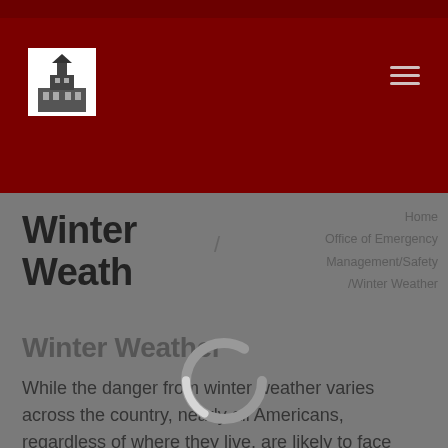[Figure (logo): Building/institution logo in grayscale, shown in white box]
Winter Weather
Home / Office of Emergency Management/Safety /Winter Weather
[Figure (other): Loading spinner / circular progress indicator, gray ring with white gap]
Winter Weather
While the danger from winter weather varies across the country, nearly all Americans, regardless of where they live, are likely to face some type of severe winter weather